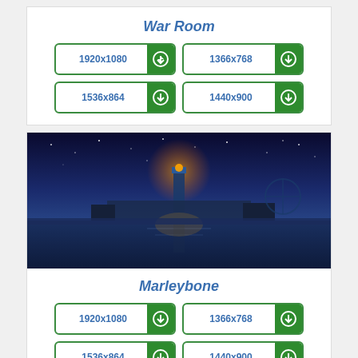War Room
1920x1080
1366x768
1536x864
1440x900
[Figure (photo): Night scene with a glowing lighthouse surrounded by blue starry sky, reflected in water, with a Ferris wheel and buildings in the background]
Marleybone
1920x1080
1366x768
1536x864
1440x900
[Figure (photo): Partial view of another wallpaper preview at the bottom]